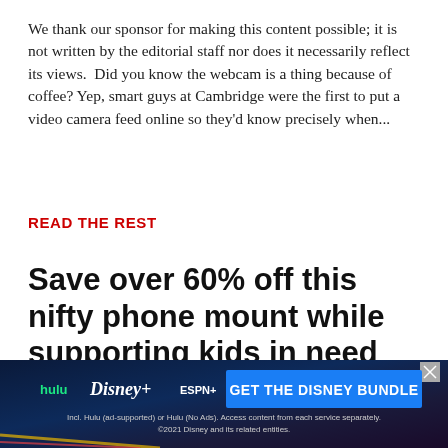We thank our sponsor for making this content possible; it is not written by the editorial staff nor does it necessarily reflect its views.  Did you know the webcam is a thing because of coffee? Yep, smart guys at Cambridge were the first to put a video camera feed online so they'd know precisely when...
READ THE REST
Save over 60% off this nifty phone mount while supporting kids in need
[Figure (photo): Phone mount product image - black cylindrical phone mount]
Report an ad
[Figure (infographic): Disney Bundle advertisement banner with Hulu, Disney+, ESPN+ logos and GET THE DISNEY BUNDLE call to action. Fine print: Incl. Hulu (ad-supported) or Hulu (No Ads). Access content from each service separately. ©2021 Disney and its related entities.]